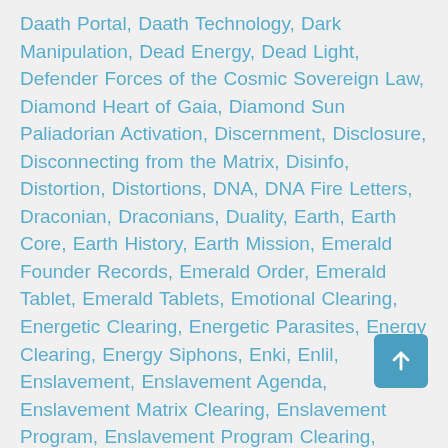Daath Portal, Daath Technology, Dark Manipulation, Dead Energy, Dead Light, Defender Forces of the Cosmic Sovereign Law, Diamond Heart of Gaia, Diamond Sun Paliadorian Activation, Discernment, Disclosure, Disconnecting from the Matrix, Disinfo, Distortion, Distortions, DNA, DNA Fire Letters, Draconian, Draconians, Duality, Earth, Earth Core, Earth History, Earth Mission, Emerald Founder Records, Emerald Order, Emerald Tablet, Emerald Tablets, Emotional Clearing, Energetic Clearing, Energetic Parasites, Energy Clearing, Energy Siphons, Enki, Enlil, Enslavement, Enslavement Agenda, Enslavement Matrix Clearing, Enslavement Program, Enslavement Program Clearing, Entity Clearing, Erased History, Essene, Essene Divide, Essene Manuscripts, Exiting The Matrix, Fake Moon, Fallen Angelics, Fallen Angels, Fallen Entities, Fallen Melchizedeks, Fallen Ones, False 5D Ascension, False 5D Ascension Programs, False 5D Ascension Timeline, False 5D Timelines, False Alien Gods, False Ascension, False Ascension Matrix, False Ascension Timelines, False Bible